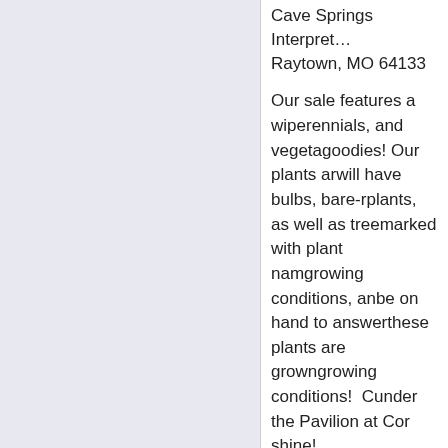Cave Springs Interpretive Center, Raytown, MO 64133
Our sale features a wide variety of perennials, and vegetables and other goodies! Our plants are... will have bulbs, bare-root plants, as well as trees... marked with plant names, growing conditions, and... be on hand to answer... these plants are grown... growing conditions!  Come under the Pavilion at C... or shine!
[Figure (photo): Outdoor wooded scene with trees and green vegetation, appears to be taken at Cave Springs Interpretive Center]